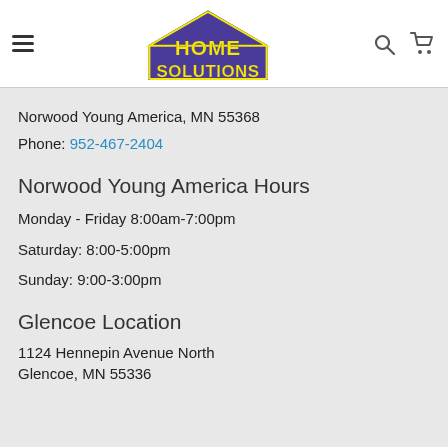Home Solutions logo with navigation hamburger menu, search icon, and cart icon
Norwood Young America, MN 55368
Phone: 952-467-2404
Norwood Young America Hours
Monday - Friday 8:00am-7:00pm
Saturday: 8:00-5:00pm
Sunday: 9:00-3:00pm
Glencoe Location
1124 Hennepin Avenue North
Glencoe, MN 55336